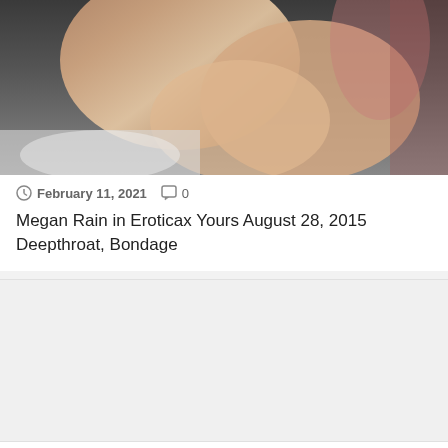[Figure (photo): Partially visible adult content photograph cropped at top]
February 11, 2021   0
Megan Rain in Eroticax Yours August 28, 2015 Deepthroat, Bondage
[Figure (photo): Blank/placeholder light gray image area]
January 29, 2021   0
Angel Smalls in Hardx Tiny DP Cutie July 26, 2016 Hardcore, Squirt